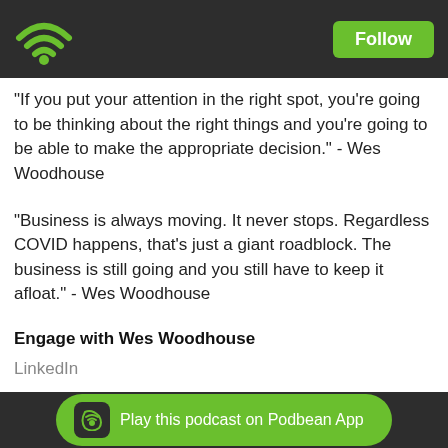Follow
"If you put your attention in the right spot, you're going to be thinking about the right things and you're going to be able to make the appropriate decision." - Wes Woodhouse
"Business is always moving. It never stops. Regardless COVID happens, that's just a giant roadblock. The business is still going and you still have to keep it afloat." - Wes Woodhouse
Engage with Wes Woodhouse
LinkedIn
Wes Woodhouse Website
Reach out to Justin Szerletich to get in touch with Knucklehead Media Group
LinkedIn
Twitter
Play this podcast on Podbean App